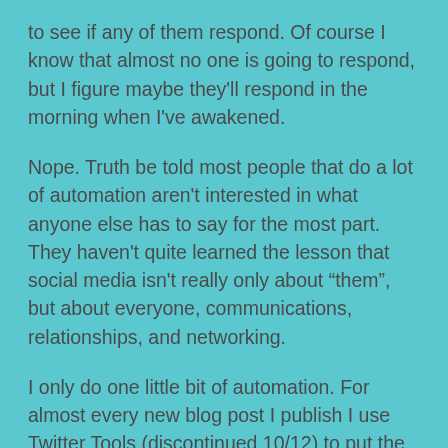to see if any of them respond. Of course I know that almost no one is going to respond, but I figure maybe they'll respond in the morning when I've awakened.
Nope. Truth be told most people that do a lot of automation aren't interested in what anyone else has to say for the most part. They haven't quite learned the lesson that social media isn't really only about “them”, but about everyone, communications, relationships, and networking.
I only do one little bit of automation. For almost every new blog post I publish I use Twitter Tools (discontinued 10/12) to put the notification out that I've written a new blog post. I do that because I tend to write a lot of posts all at once on all my blogs (remember I have 5 of my own and many that I write for others) in advance.